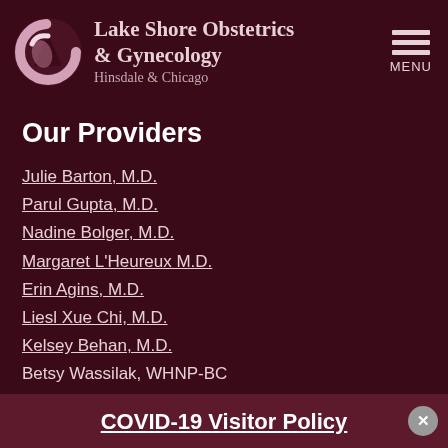[Figure (logo): Lake Shore Obstetrics and Gynecology logo — a stylized circular shape in pink/white tones on dark maroon background]
Lake Shore Obstetrics & Gynecology Hinsdale & Chicago
Our Providers
Julie Barton, M.D.
Parul Gupta, M.D.
Nadine Bolger, M.D.
Margaret L'Heureux M.D.
Erin Agins, M.D.
Liesl Xue Chi, M.D.
Kelsey Behan, M.D.
Betsy Wassilak, WHNP-BC
COVID-19 Visitor Policy